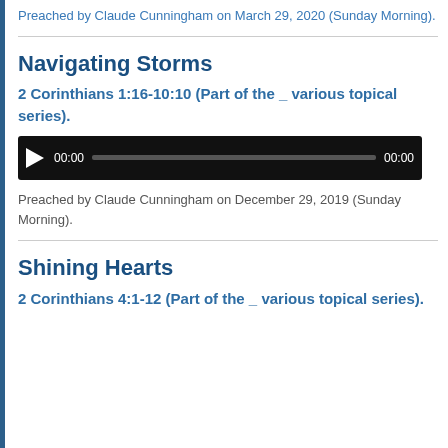Preached by Claude Cunningham on March 29, 2020 (Sunday Morning).
Navigating Storms
2 Corinthians 1:16-10:10 (Part of the _ various topical series).
[Figure (other): Audio player with play button, 00:00 start time, progress bar, and 00:00 end time on black background]
Preached by Claude Cunningham on December 29, 2019 (Sunday Morning).
Shining Hearts
2 Corinthians 4:1-12 (Part of the _ various topical series).